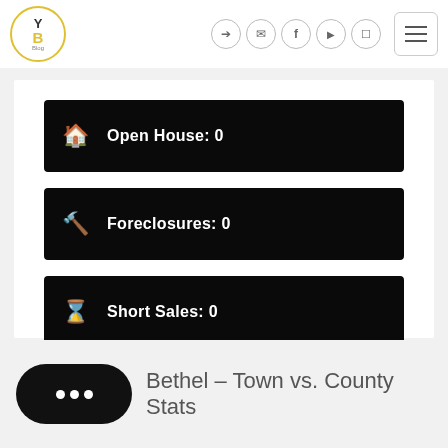[Figure (logo): YB Blog logo — yellow circle with Y on top, B in gold below]
Open House: 0
Foreclosures: 0
Short Sales: 0
Bethel - Town vs. County Stats